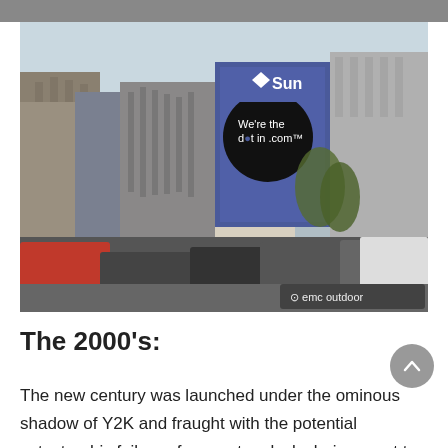[Figure (photo): Street-level photograph of a busy city boulevard with traffic, tall buildings, and a large Sun Microsystems billboard reading 'We're the dot in .com' with the Sun logo and an emc outdoor watermark in the lower right corner.]
The 2000's:
The new century was launched under the ominous shadow of Y2K and fraught with the potential catastrophic failure of computer clocks being reset to 1900, affecting many